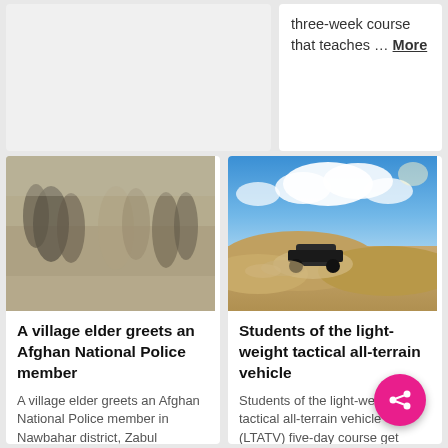three-week course that teaches … More
[Figure (photo): Blurry photo of soldiers and civilians in a desert setting, Afghan National Police engagement scene]
[Figure (photo): Light-weight tactical all-terrain vehicle (LTATV) driving through sandy desert terrain with blue sky and clouds]
A village elder greets an Afghan National Police member
A village elder greets an Afghan National Police member in Nawbahar district, Zabul province, Afghanistan, April 10. Afghanistan National Security Forces and coalition special operations forces
Students of the light-weight tactical all-terrain vehicle
Students of the light-weight tactical all-terrain vehicle (LTATV) five-day course get hands-on experience with the vehicle at Ocotillo W State Park. Students c course participate in va exercises t… More